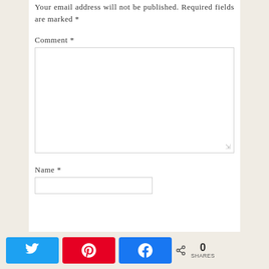Your email address will not be published. Required fields are marked *
Comment *
Name *
[Figure (screenshot): Social share bar with Twitter, Pinterest, and Facebook buttons, and a share count showing 0 SHARES]